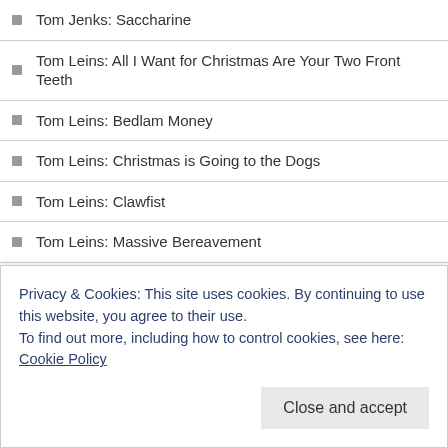Tom Jenks: Saccharine
Tom Leins: All I Want for Christmas Are Your Two Front Teeth
Tom Leins: Bedlam Money
Tom Leins: Christmas is Going to the Dogs
Tom Leins: Clawfist
Tom Leins: Massive Bereavement
Tom Leins: Oozy Rat in a Sanitary Zoo
Tom Leins: Scumbags with Bumbags
Tom Leins: The Big Blow Off
Tom Leins: The Cold Vein
Tom Leins: What Another Man Spills
Tommy Dean: Out of the Dust
Privacy & Cookies: This site uses cookies. By continuing to use this website, you agree to their use.
To find out more, including how to control cookies, see here: Cookie Policy